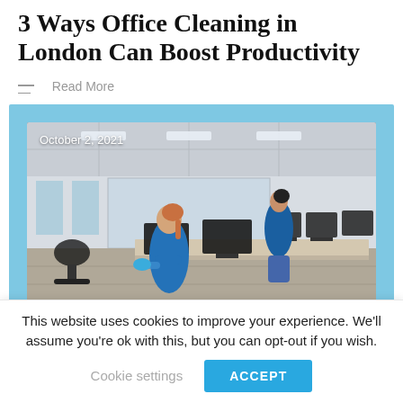3 Ways Office Cleaning in London Can Boost Productivity
— Read More
[Figure (photo): Two women in blue uniforms cleaning an office with computers and desks, with an overlay date of October 2, 2021]
This website uses cookies to improve your experience. We'll assume you're ok with this, but you can opt-out if you wish.
Cookie settings   ACCEPT